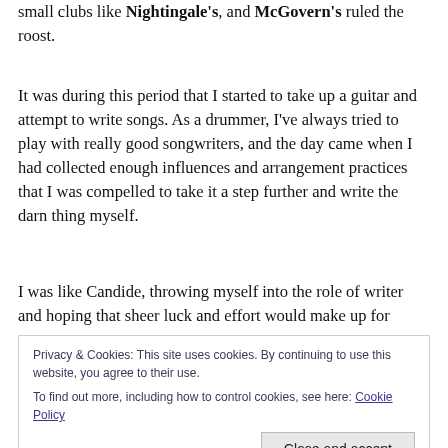small clubs like Nightingale's, and McGovern's ruled the roost.
It was during this period that I started to take up a guitar and attempt to write songs. As a drummer, I've always tried to play with really good songwriters, and the day came when I had collected enough influences and arrangement practices that I was compelled to take it a step further and write the darn thing myself.
I was like Candide, throwing myself into the role of writer and hoping that sheer luck and effort would make up for
Privacy & Cookies: This site uses cookies. By continuing to use this website, you agree to their use.
To find out more, including how to control cookies, see here: Cookie Policy
played. This may not sound like much, but let me tell you